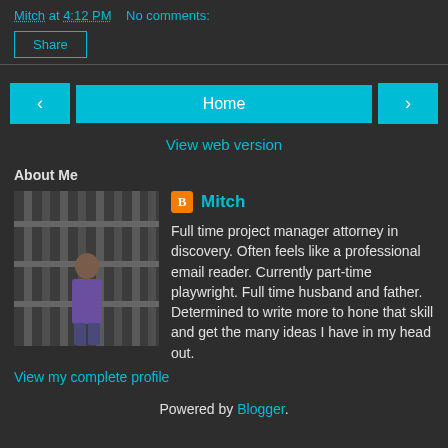...hours to go today.
Mitch at 4:12 PM   No comments:
Share
‹   Home   ›
View web version
About Me
[Figure (photo): Profile photo of Mitch standing in front of industrial shelving or scaffolding]
Mitch - Full time project manager attorney in discovery. Often feels like a professional email reader. Currently part-time playwright. Full time husband and father. Determined to write more to hone that skill and get the many ideas I have in my head out.
View my complete profile
Powered by Blogger.